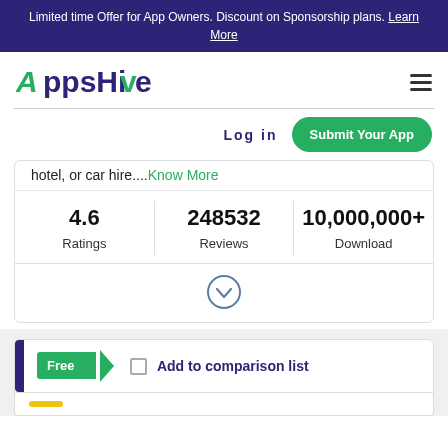Limited time Offer for App Owners. Discount on Sponsorship plans. Learn More
[Figure (logo): AppsHive logo with green stylized A and dark blue text]
Log in
Submit Your App
hotel, or car hire....Know More
| Ratings | Reviews | Download |
| --- | --- | --- |
| 4.6 | 248532 | 10,000,000+ |
Free
Add to comparison list